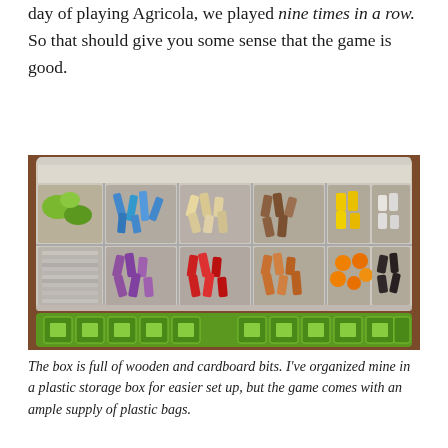day of playing Agricola, we played nine times in a row. So that should give you some sense that the game is good.
[Figure (photo): A plastic storage organizer box with a hinged clear lid, open and filled with colorful wooden and cardboard game pieces organized into compartments. Colors visible include green, blue, tan/cream, brown, yellow, white/gray, purple, red, orange/tan, orange circles, dark/black, gray, white blocks, and mixed brown pieces. Below the storage box is a partial view of a green Agricola game board.]
The box is full of wooden and cardboard bits. I've organized mine in a plastic storage box for easier set up, but the game comes with an ample supply of plastic bags.